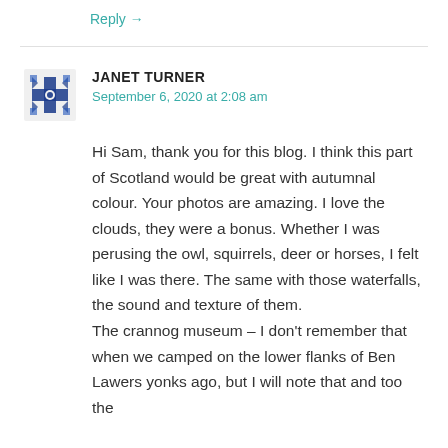Reply →
[Figure (other): Blue decorative snowflake/cross pattern avatar for user Janet Turner]
JANET TURNER
September 6, 2020 at 2:08 am
Hi Sam, thank you for this blog. I think this part of Scotland would be great with autumnal colour. Your photos are amazing. I love the clouds, they were a bonus. Whether I was perusing the owl, squirrels, deer or horses, I felt like I was there. The same with those waterfalls, the sound and texture of them.
The crannog museum – I don't remember that when we camped on the lower flanks of Ben Lawers yonks ago, but I will note that and too the